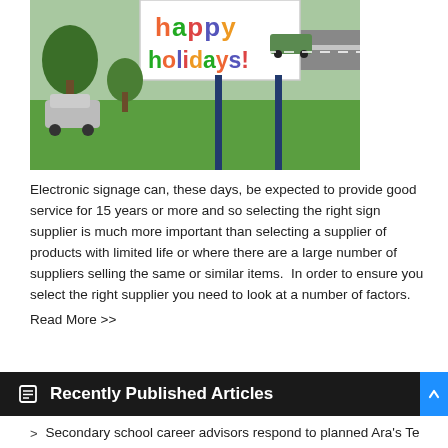[Figure (photo): Outdoor electronic signage board displaying 'happy holidays!' in colorful letters, with green lawn, trees, parked cars, and a road visible in the background.]
Electronic signage can, these days, be expected to provide good service for 15 years or more and so selecting the right sign supplier is much more important than selecting a supplier of products with limited life or where there are a large number of suppliers selling the same or similar items.  In order to ensure you select the right supplier you need to look at a number of factors.
Read More >>
Recently Published Articles
Secondary school career advisors respond to planned Ara's Te